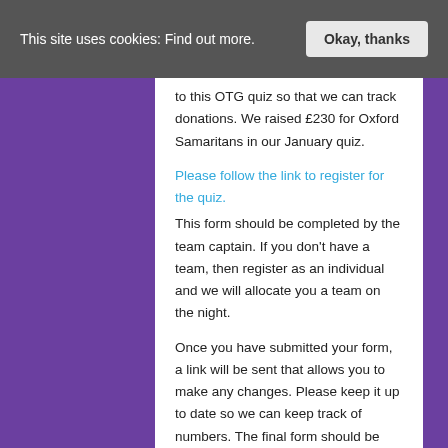This site uses cookies: Find out more.  Okay, thanks
to this OTG quiz so that we can track donations. We raised £230 for Oxford Samaritans in our January quiz.
Please follow the link to register for the quiz.
This form should be completed by the team captain. If you don't have a team, then register as an individual and we will allocate you a team on the night.
Once you have submitted your form, a link will be sent that allows you to make any changes. Please keep it up to date so we can keep track of numbers. The final form should be submitted no later than 6pm on Friday 26 February.